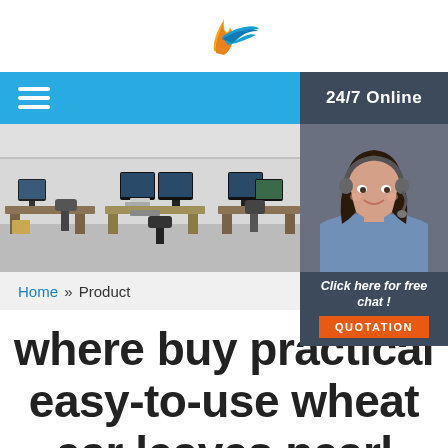[Figure (logo): Company logo with orange flame and blue wing/check mark]
[Figure (screenshot): Navigation bar with hamburger menu on blue background, '24/7 Online' dark panel on right]
[Figure (photo): Office workspace photo on left, customer support woman with headset on right]
Home »Product
Click here for free chat !
QUOTATION
where buy practical easy-to-use wheat ear leaves pearl bracelet factory direct sales